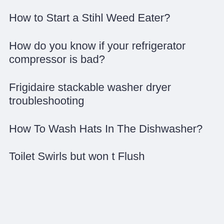How to Start a Stihl Weed Eater?
How do you know if your refrigerator compressor is bad?
Frigidaire stackable washer dryer troubleshooting
How To Wash Hats In The Dishwasher?
Toilet Swirls but won t Flush